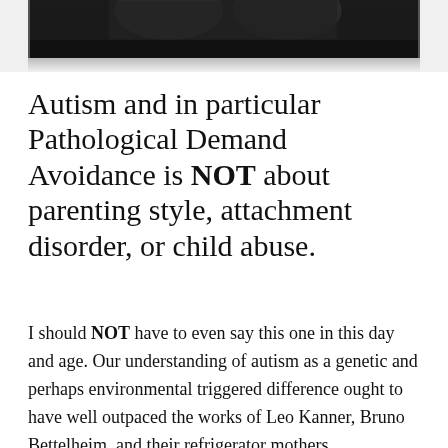[Figure (photo): Partial black and white photograph visible at the top of the page, cropped, showing a dark image near the bottom edge of the photo frame.]
Autism and in particular Pathological Demand Avoidance is NOT about parenting style, attachment disorder, or child abuse.
I should NOT have to even say this one in this day and age. Our understanding of autism as a genetic and perhaps environmental triggered difference ought to have well outpaced the works of Leo Kanner, Bruno Bettelheim, and their refrigerator mothers